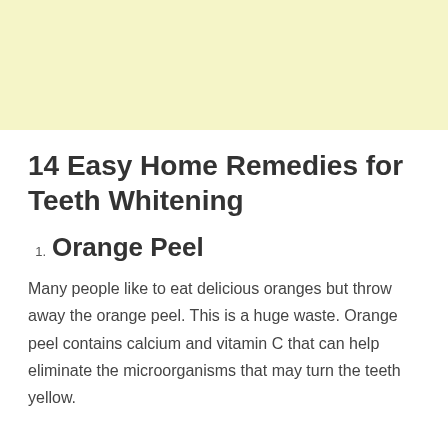[Figure (other): Light yellow banner/header background area at the top of the page]
14 Easy Home Remedies for Teeth Whitening
1. Orange Peel
Many people like to eat delicious oranges but throw away the orange peel. This is a huge waste. Orange peel contains calcium and vitamin C that can help eliminate the microorganisms that may turn the teeth yellow.